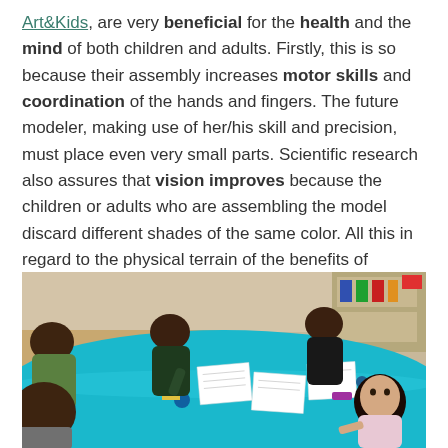Art&Kids, are very beneficial for the health and the mind of both children and adults. Firstly, this is so because their assembly increases motor skills and coordination of the hands and fingers. The future modeler, making use of her/his skill and precision, must place even very small parts. Scientific research also assures that vision improves because the children or adults who are assembling the model discard different shades of the same color. All this in regard to the physical terrain of the benefits of modeling for kids.
[Figure (photo): Children sitting around a blue table doing arts and crafts activities in a classroom setting]